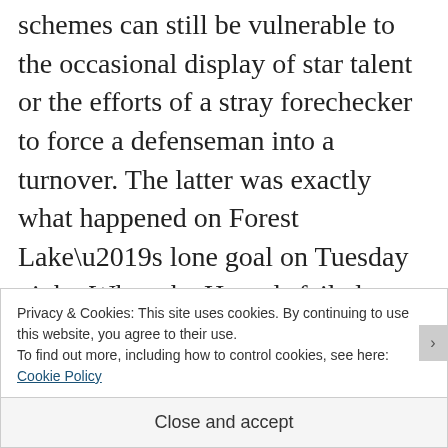schemes can still be vulnerable to the occasional display of star talent or the efforts of a stray forechecker to force a defenseman into a turnover. The latter was exactly what happened on Forest Lake’s lone goal on Tuesday night. When the Hounds failed to score on a five-minute major, I knew the season was over. An embarrassing scrum at the end was only a cherry on top.
Privacy & Cookies: This site uses cookies. By continuing to use this website, you agree to their use. To find out more, including how to control cookies, see here: Cookie Policy
Close and accept